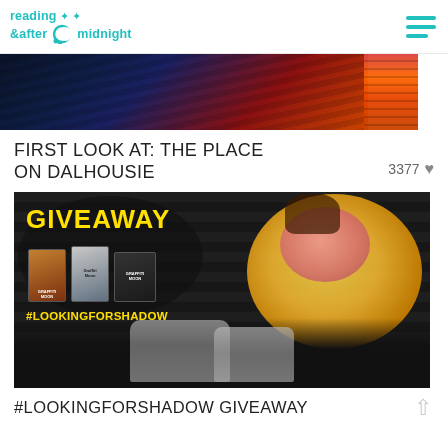reading after midnight
[Figure (photo): Partial view of a colorful abstract/graphic image with dark teal wave patterns on left and orange/red vertical bars on right, cropped at the top of the page]
FIRST LOOK AT: THE PLACE ON DALHOUSIE
3377 ♥
[Figure (photo): Photo showing two people sitting against a dark graffiti mural on a roller shutter. The mural features a large ice cream sundae illustration. On the left side of the mural is text saying GIVEAWAY in yellow, three book covers for Graffiti Moon, and the hashtag #LOOKINGFORSHADOW in yellow. Two people (a man and woman) sit at the bottom.]
#LOOKINGFORSHADOW GIVEAWAY